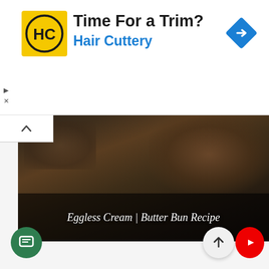[Figure (other): Advertisement banner for Hair Cuttery with logo (yellow square with HC letters), text 'Time For a Trim?' and 'Hair Cuttery' in blue, and a blue diamond navigation icon on the right. Small play and X controls on the left.]
[Figure (photo): Dark food photo showing a baked item in a dish, with text overlay 'Eggless Cream | Butter Bun Recipe' in white italic serif font on a semi-transparent dark background at the bottom.]
[Figure (photo): Photo of golden round buns arranged on a decorative tray/rack with snowflake patterns on a wooden surface. Text overlay 'Bakery Style Eggless | Ovenless Bun' in white italic serif font at the bottom. Social media icons (Facebook, Twitter, Instagram, Pinterest, Tumblr) on the right side. Chat bubble icon and upward arrow share button at the bottom.]